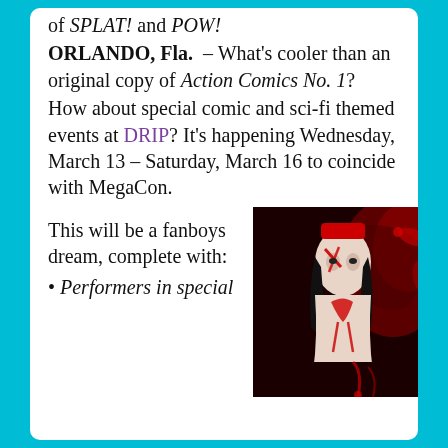of SPLAT! and POW!
ORLANDO, Fla. – What's cooler than an original copy of Action Comics No. 1?
How about special comic and sci-fi themed events at DRIP? It's happening Wednesday, March 13 – Saturday, March 16 to coincide with MegaCon.
This will be a fanboys dream, complete with:
Performers in special
[Figure (photo): A woman in comic-book style costume with red and white face paint, dark hair, red hat, and dramatic red splatter artistic background]